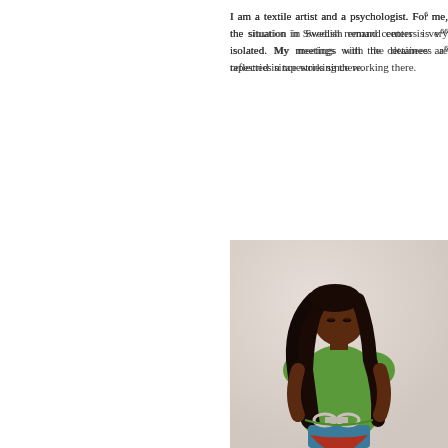I am a textile artist and a psychologist. For me, the situation in Swedish remand centers is very isolated. My meetings with the detainees are reflected in tapestries since working there.
[Figure (illustration): A textile tapestry illustration of a dark-skinned woman with long black hair wearing a green short-sleeved top and blue jeans, her hands bound behind her back with handcuffs, standing against a pale grey/white background.]